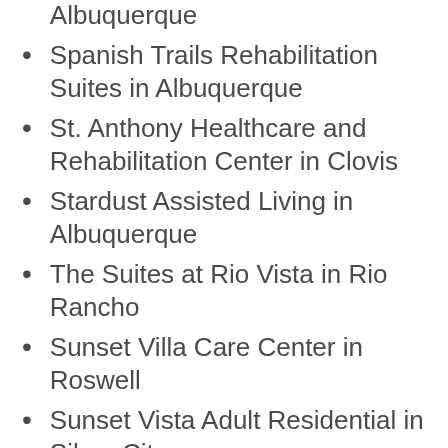South Valley Care Center in Albuquerque
Spanish Trails Rehabilitation Suites in Albuquerque
St. Anthony Healthcare and Rehabilitation Center in Clovis
Stardust Assisted Living in Albuquerque
The Suites at Rio Vista in Rio Rancho
Sunset Villa Care Center in Roswell
Sunset Vista Adult Residential in Silver City
Taos Living Center
Tender Heart Assisted Living in Albuquerque
Tercer Cielo Assisted Living in Albuquerque
Uptown Rehabilitation Center in